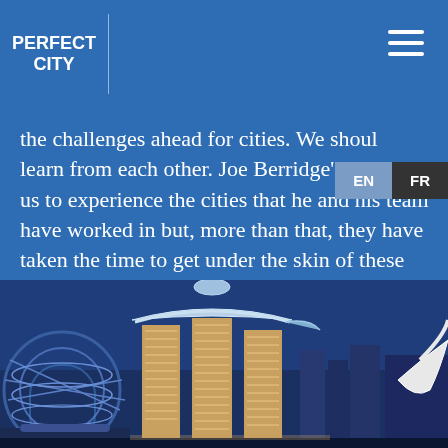PERFECT CITY
the challenges ahead for cities. We should learn from each other. Joe Berridge’s book invites us to experience the cities that he and his team have worked in but, more than that, they have taken the time to get under the skin of these places and their people and to bring it all to life for us.” –
[Figure (photo): Nighttime cityscape photo showing the Marina Bay Sands hotel with three towers and rooftop structure in Singapore, with illuminated buildings, and a sphere-like structure visible on the left side, shot against a dark blue evening sky.]